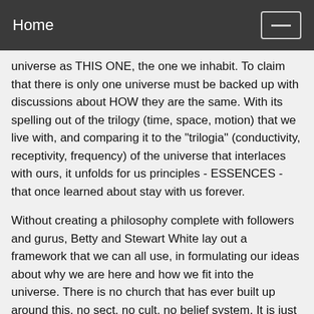Home
universe as THIS ONE, the one we inhabit. To claim that there is only one universe must be backed up with discussions about HOW they are the same. With its spelling out of the trilogy (time, space, motion) that we live with, and comparing it to the "trilogia" (conductivity, receptivity, frequency) of the universe that interlaces with ours, it unfolds for us principles - ESSENCES - that once learned about stay with us forever.
Without creating a philosophy complete with followers and gurus, Betty and Stewart White lay out a framework that we can all use, in formulating our ideas about why we are here and how we fit into the universe. There is no church that has ever built up around this, no sect, no cult, no belief system. It is just crib notes for taking the universe seriously, while appreciating it all with wonder.
Reading this all those years ago, I was pretty new (and YOUNG!) and eager to learn all I could about reality and the universe. After reading it, I thought that there would be books like this every so often along the trail. Sadly,